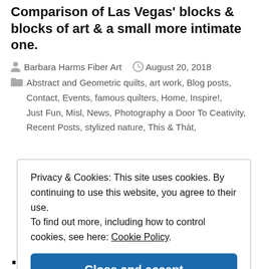Comparison of Las Vegas' blocks & blocks of art & a small more intimate one.
Barbara Harms Fiber Art   August 20, 2018   Abstract and Geometric quilts, art work, Blog posts, Contact, Events, famous quilters, Home, Inspire!, Just Fun, Misl, News, Photography a Door To Ceativity, Recent Posts, stylized nature, This & Thàt,
Privacy & Cookies: This site uses cookies. By continuing to use this website, you agree to their use.
To find out more, including how to control cookies, see here: Cookie Policy
Close and accept
...imagination